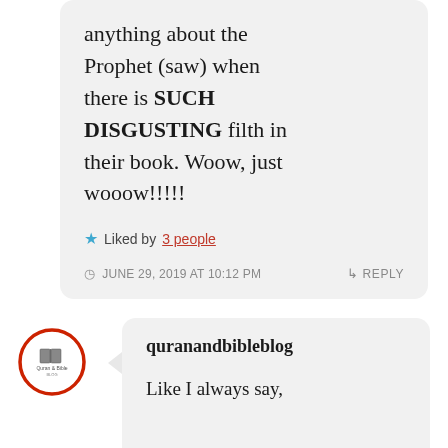anything about the Prophet (saw) when there is SUCH DISGUSTING filth in their book. Woow, just wooow!!!!!
★ Liked by 3 people
JUNE 29, 2019 AT 10:12 PM  ↳ REPLY
[Figure (logo): Quran and Bible Blog avatar icon in red circle]
quranandbibleblog
Like I always say,